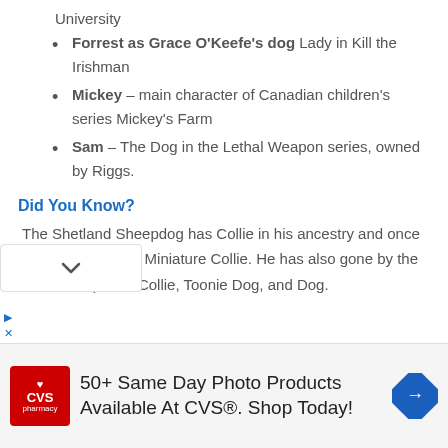University
Forrest as Grace O'Keefe's dog Lady in Kill the Irishman
Mickey – main character of Canadian children's series Mickey's Farm
Sam – The Dog in the Lethal Weapon series, owned by Riggs.
Did You Know?
The Shetland Sheepdog has Collie in his ancestry and once went by the name Miniature Collie. He has also gone by the names Lilliputian Collie, Toonie Dog, and Dog.
[Figure (other): Advertisement banner for CVS Pharmacy: '50+ Same Day Photo Products Available At CVS®. Shop Today!']